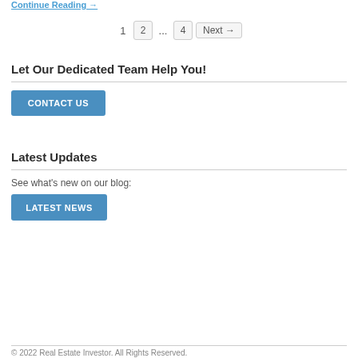Continue Reading →
1  2  ...  4  Next →
Let Our Dedicated Team Help You!
[Figure (other): Blue CONTACT US button]
Latest Updates
See what's new on our blog:
[Figure (other): Blue LATEST NEWS button]
© 2022 Real Estate Investor. All Rights Reserved.